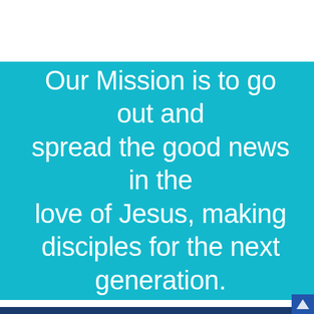Our Mission is to go out and spread the good news in the love of Jesus, making disciples for the next generation.